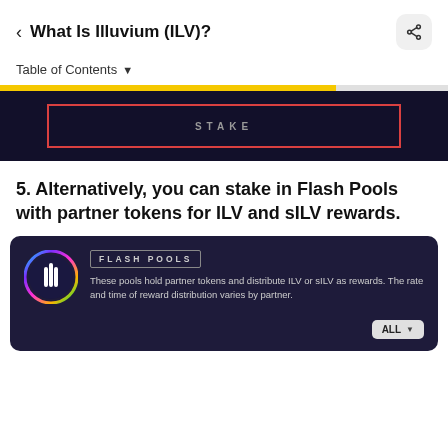< What Is Illuvium (ILV)?
Table of Contents ▾
[Figure (screenshot): Dark UI screenshot showing a STAKE button with red border on dark navy background, with a yellow progress bar at top]
5. Alternatively, you can stake in Flash Pools with partner tokens for ILV and sILV rewards.
[Figure (screenshot): Flash Pools UI panel showing Illuvium logo with rainbow ring, FLASH POOLS label, description text: 'These pools hold partner tokens and distribute ILV or sILV as rewards. The rate and time of reward distribution varies by partner.' with an ALL dropdown at bottom right]